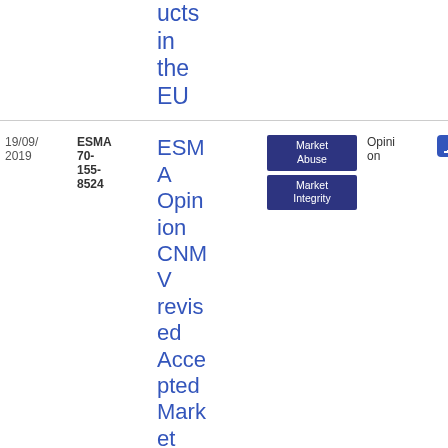| Date | Reference | Title | Tags | Type | File |
| --- | --- | --- | --- | --- | --- |
| (cont.) | (cont.) | ucts in the EU |  |  |  |
| 19/09/2019 | ESMA 70-155-8524 | ESMA Opinion CNMV revised Accepted Market Practice | Market Abuse | Market Integrity | Opinion | PDF 52 0.92 KB |
| 13/04/2018 | ESMA 70-... | ESMA... | Market Abuse | Opinion | PDF |